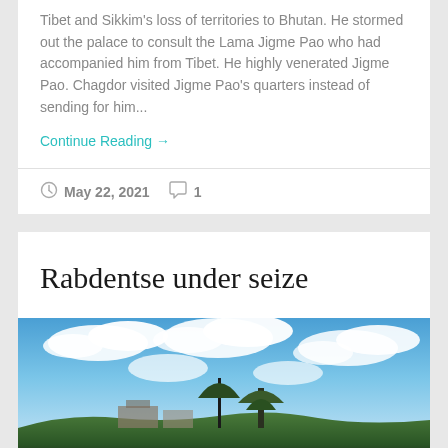Tibet and Sikkim's loss of territories to Bhutan. He stormed out the palace to consult the Lama Jigme Pao who had accompanied him from Tibet. He highly venerated Jigme Pao. Chagdor visited Jigme Pao's quarters instead of sending for him...
Continue Reading →
May 22, 2021  1
Rabdentse under seize
[Figure (photo): Outdoor photograph showing a blue sky with white clouds, a tall bare tree in the center, green trees and what appears to be a hillside structure or ruins in the background.]